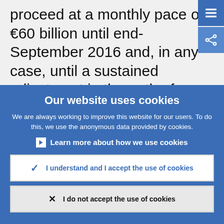proceed at a monthly pace of €60 billion until end-September 2016 and, in any case, until a sustained adjustment in the path of inflation was visible, in line with the Governing Council's aim for bio...
Our website uses cookies
We are always working to improve this website for our users. To do this, we use the anonymous data provided by cookies.
Learn more about how we use cookies
I understand and I accept the use of cookies
I do not accept the use of cookies